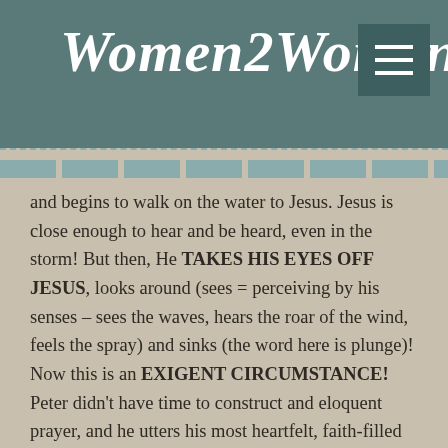Women2Women
and begins to walk on the water to Jesus. Jesus is close enough to hear and be heard, even in the storm! But then, He TAKES HIS EYES OFF JESUS, looks around (sees = perceiving by his senses – sees the waves, hears the roar of the wind, feels the spray) and sinks (the word here is plunge)! Now this is an EXIGENT CIRCUMSTANCE! Peter didn't have time to construct and eloquent prayer, and he utters his most heartfelt, faith-filled prayer to date – Lord save me!! He's at this point 100% sure Jesus can save him! There's no doubt whatsoever, there's no other agency, no one else who can save him, but Jesus! A good reminder for us, don't looks elsewhere for aide, look ONLY TO JESUS!